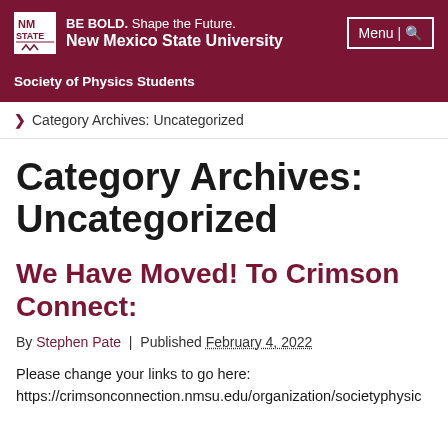BE BOLD. Shape the Future. New Mexico State University | Menu | Society of Physics Students
Category Archives: Uncategorized
Category Archives: Uncategorized
We Have Moved! To Crimson Connect:
By Stephen Pate | Published February 4, 2022
Please change your links to go here:
https://crimsonconnection.nmsu.edu/organization/societyphysic